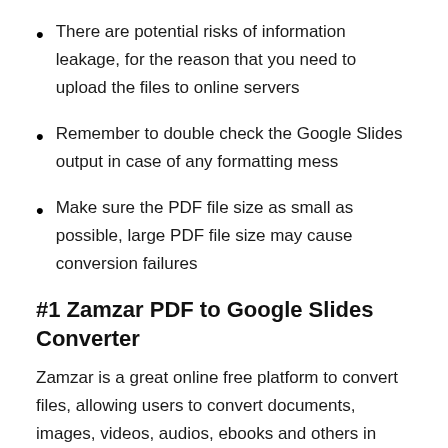There are potential risks of information leakage, for the reason that you need to upload the files to online servers
Remember to double check the Google Slides output in case of any formatting mess
Make sure the PDF file size as small as possible, large PDF file size may cause conversion failures
#1 Zamzar PDF to Google Slides Converter
Zamzar is a great online free platform to convert files, allowing users to convert documents, images, videos, audios, ebooks and others in 1000+ formats. Better than before, it won't require an email address